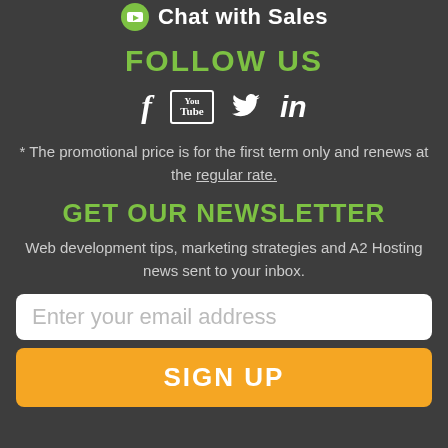Chat with Sales
FOLLOW US
[Figure (illustration): Social media icons: Facebook, YouTube, Twitter, LinkedIn]
* The promotional price is for the first term only and renews at the regular rate.
GET OUR NEWSLETTER
Web development tips, marketing strategies and A2 Hosting news sent to your inbox.
Enter your email address
SIGN UP